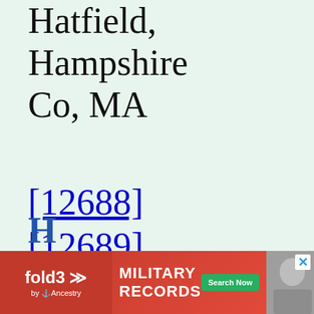Hatfield, Hampshire Co, MA
[12688] [12689]
Family 1 :
[Figure (other): Advertisement banner for fold3 military records by Ancestry with Search Now button and soldier photo]